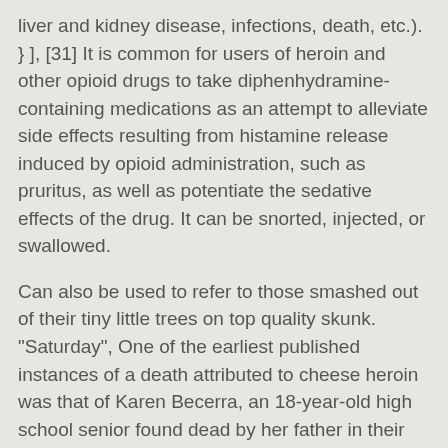liver and kidney disease, infections, death, etc.). } ], [31] It is common for users of heroin and other opioid drugs to take diphenhydramine-containing medications as an attempt to alleviate side effects resulting from histamine release induced by opioid administration, such as pruritus, as well as potentiate the sedative effects of the drug. It can be snorted, injected, or swallowed.
Can also be used to refer to those smashed out of their tiny little trees on top quality skunk. "Saturday", One of the earliest published instances of a death attributed to cheese heroin was that of Karen Becerra, an 18-year-old high school senior found dead by her father in their West Dallas home on April 24, 2006. Some of the common treatment options for drug addiction include: Whether it's knowing the different drug slang or recognizing the potential signs of addiction, help is just around the corner.